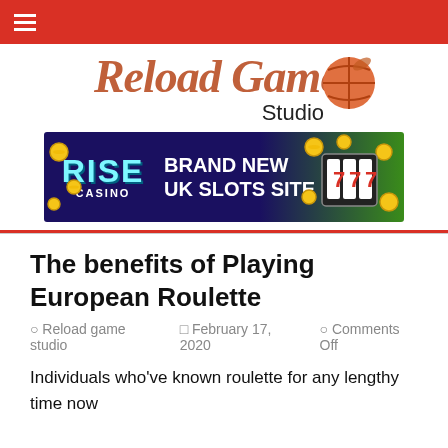≡
[Figure (logo): Reload Game Studio logo with stylized italic text in brown/rust color and a basketball icon]
[Figure (screenshot): Rise Casino banner advertisement: Brand New UK Slots Site with 777 slot machine imagery and gold coins on dark blue background]
The benefits of Playing European Roulette
Reload game studio   February 17, 2020   Comments Off
Individuals who've known roulette for any lengthy time now